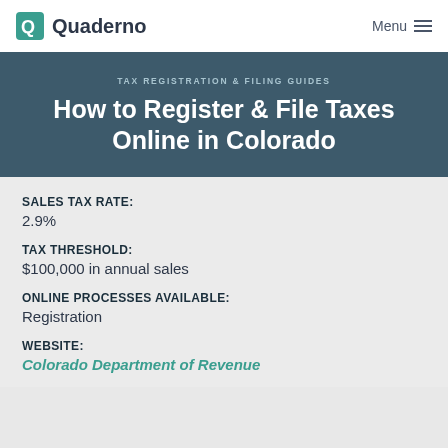Quaderno | Menu
TAX REGISTRATION & FILING GUIDES
How to Register & File Taxes Online in Colorado
SALES TAX RATE:
2.9%
TAX THRESHOLD:
$100,000 in annual sales
ONLINE PROCESSES AVAILABLE:
Registration
WEBSITE:
Colorado Department of Revenue